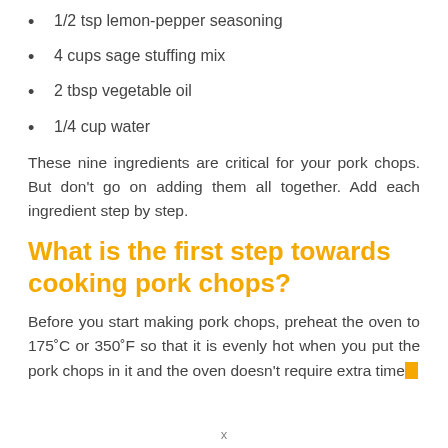1/2 tsp lemon-pepper seasoning
4 cups sage stuffing mix
2 tbsp vegetable oil
1/4 cup water
These nine ingredients are critical for your pork chops. But don’t go on adding them all together. Add each ingredient step by step.
What is the first step towards cooking pork chops?
Before you start making pork chops, preheat the oven to 175°C or 350°F so that it is evenly hot when you put the pork chops in it and the oven doesn't require extra time to
x